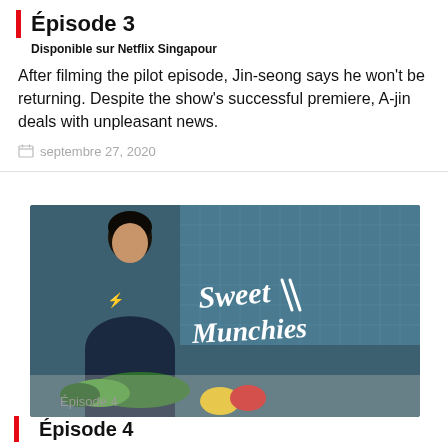Épisode 3
Disponible sur Netflix Singapour
After filming the pilot episode, Jin-seong says he won't be returning. Despite the show's successful premiere, A-jin deals with unpleasant news.
septembre 27, 2020
[Figure (photo): A man in a dark chef's jacket standing in a kitchen with vegetables on the counter. The show title 'Sweet Munchies' is written in white script on the right side of the image.]
Épisode 4
Épisode 4